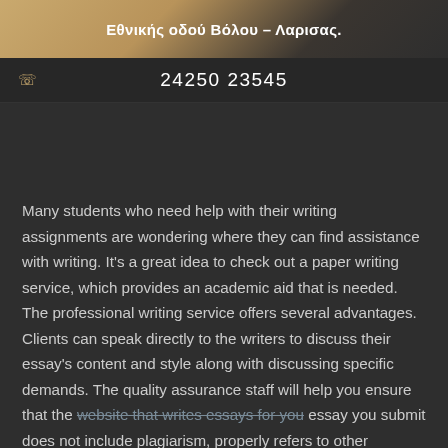Εθνικής οδού Βόλου – Λαρισας.
24250 23545
Many students who need help with their writing assignments are wondering where they can find assistance with writing. It's a great idea to check out a paper writing service, which provides an academic aid that is needed. The professional writing service offers several advantages. Clients can speak directly to the writers to discuss their essay's content and style along with discussing specific demands. The quality assurance staff will help you ensure that the website that writes essays for you essay you submit does not include plagiarism, properly refers to other sources, and conforms to the highest academic standards.
It's a great idea to let someone else do your research if you are under att...